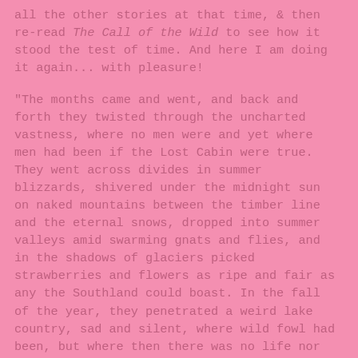all the other stories at that time, & then re-read The Call of the Wild to see how it stood the test of time. And here I am doing it again... with pleasure!
"The months came and went, and back and forth they twisted through the uncharted vastness, where no men were and yet where men had been if the Lost Cabin were true. They went across divides in summer blizzards, shivered under the midnight sun on naked mountains between the timber line and the eternal snows, dropped into summer valleys amid swarming gnats and flies, and in the shadows of glaciers picked strawberries and flowers as ripe and fair as any the Southland could boast. In the fall of the year, they penetrated a weird lake country, sad and silent, where wild fowl had been, but where then there was no life nor sign of life—only the blowing of chill winds, the forming of ice in sheltered places, and the melancholy rippling of waves on lonely beaches."
Jack London's nature writing is pure